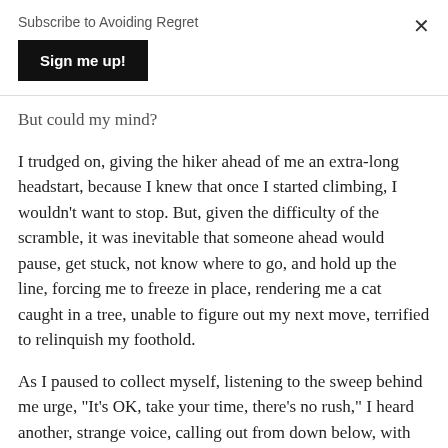Subscribe to Avoiding Regret
Sign me up!
But could my mind?
I trudged on, giving the hiker ahead of me an extra-long headstart, because I knew that once I started climbing, I wouldn't want to stop. But, given the difficulty of the scramble, it was inevitable that someone ahead would pause, get stuck, not know where to go, and hold up the line, forcing me to freeze in place, rendering me a cat caught in a tree, unable to figure out my next move, terrified to relinquish my foothold.
As I paused to collect myself, listening to the sweep behind me urge, "It's OK, take your time, there's no rush," I heard another, strange voice, calling out from down below, with intensifying urgency as it got closer.
"YOU'RE GOING TO FALL!" it said.